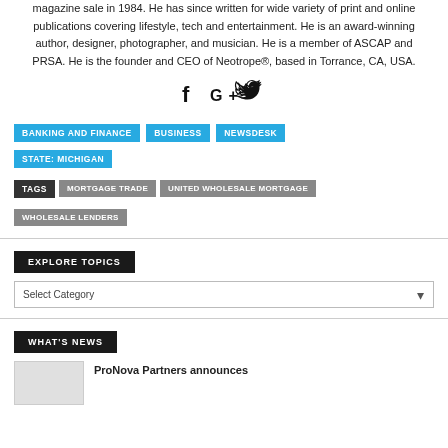magazine sale in 1984. He has since written for wide variety of print and online publications covering lifestyle, tech and entertainment. He is an award-winning author, designer, photographer, and musician. He is a member of ASCAP and PRSA. He is the founder and CEO of Neotrope®, based in Torrance, CA, USA.
[Figure (other): Social media icons: Facebook (f), Google+ (G+), Twitter bird icon]
BANKING AND FINANCE   BUSINESS   NEWSDESK   STATE: MICHIGAN
TAGS   MORTGAGE TRADE   UNITED WHOLESALE MORTGAGE   WHOLESALE LENDERS
EXPLORE TOPICS
Select Category
WHAT'S NEWS
ProNova Partners announces